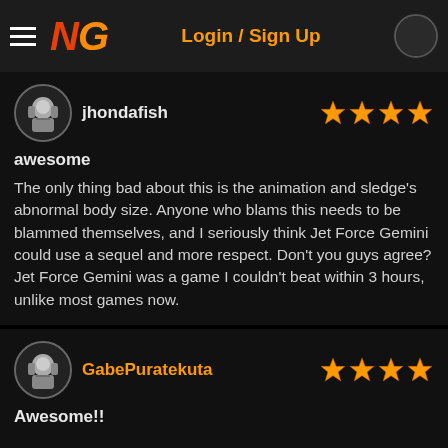NG | Login / Sign Up
jhondafish
awesome
The only thing bad about this is the animation and sledge's abnormal body size. Anyone who blams this needs to be blammed themselves, and I seriously think Jet Force Gemini could use a sequel and more respect. Don't you guys agree? Jet Force Gemini was a game I couldn't beat within 3 hours, unlike most games now.
GabePuratekuta
Awesome!!